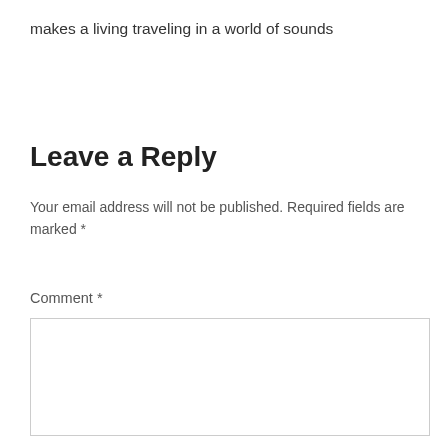makes a living traveling in a world of sounds
Leave a Reply
Your email address will not be published. Required fields are marked *
Comment *
[Figure (other): Empty comment text area input box]